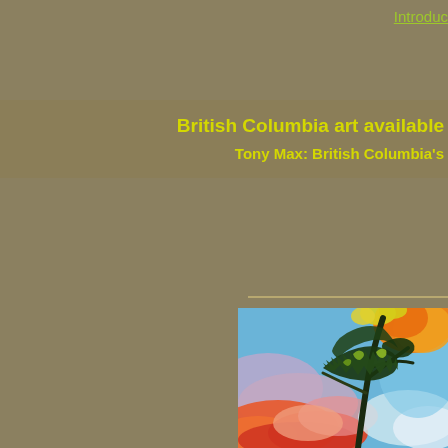Introduc
British Columbia art available
Tony Max:  British Columbia's
[Figure (illustration): Colorful artistic painting showing tree branches with stylized foliage in green and yellow against a vivid sky with blue, purple, pink, red and orange cloud formations — a digital art piece by Tony Max]